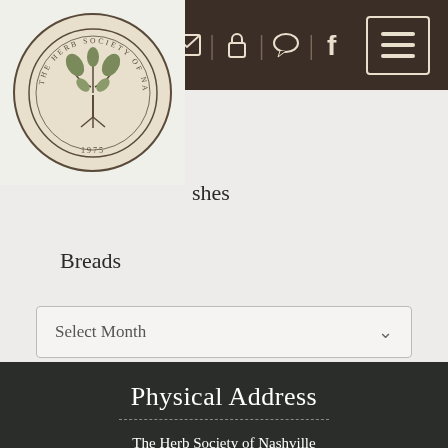The Herb Society of Nashville - navigation header with logo and icons
shes
Breads
Archives
Select Month
Physical Address
The Herb Society of Nashville
PO Box 150711
Nashville TN 37215
Email